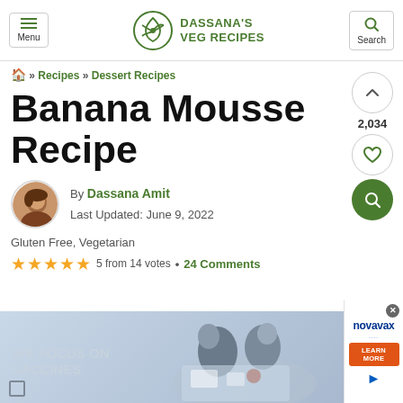Menu | DASSANA'S VEG RECIPES | Search
🏠 » Recipes » Dessert Recipes
Banana Mousse Recipe
By Dassana Amit
Last Updated: June 9, 2022
Gluten Free, Vegetarian
★★★★★ 5 from 14 votes • 24 Comments
[Figure (photo): Scientific researchers working at a table with lab equipment, overhead view. Novavax advertisement overlay with 'WE FOCUS ON VACCINES' text and 'LEARN MORE' button.]